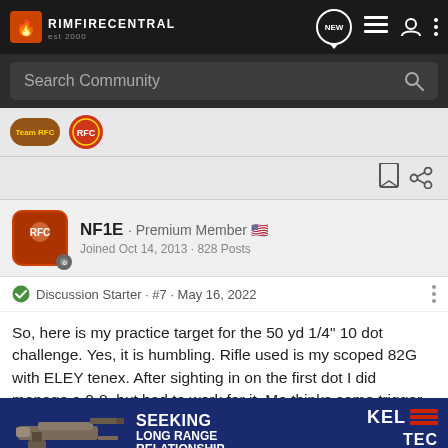RIMFIRECENTRAL - Navigation bar
Search Community
[Figure (other): Two badge icons - Team RFC and another circular badge]
[Figure (other): Bookmark and share icons]
NF1E · Premium Member 🇺🇸
Joined Oct 14, 2013 · 828 Posts
Discussion Starter · #7 · May 16, 2022
So, here is my practice target for the 50 yd 1/4" 10 dot challenge. Yes, it is humbling. Rifle used is my scoped 82G with ELEY tenex. After sighting in on the first dot I did manage a 0-8, but had to work for it. Me thinks some trigger polishing is in order. Shot off my three legged shooting table with a front rest and rea
[Figure (other): Kel-Tec CP33 pistol advertisement banner: SEEKING LONG RANGE RELATIONSHIP - THE CP33 PISTOL]